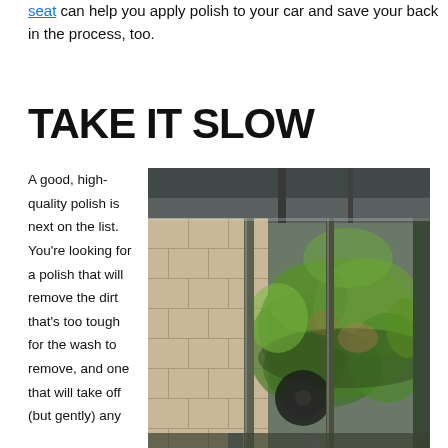seat can help you apply polish to your car and save your back in the process, too.
TAKE IT SLOW
A good, high-quality polish is next on the list. You're looking for a polish that will remove the dirt that's too tough for the wash to remove, and one that will take off (but gently) any
[Figure (photo): A car being washed in a car wash facility, covered in green foam/soap, viewed through glass panels with metal poles visible.]